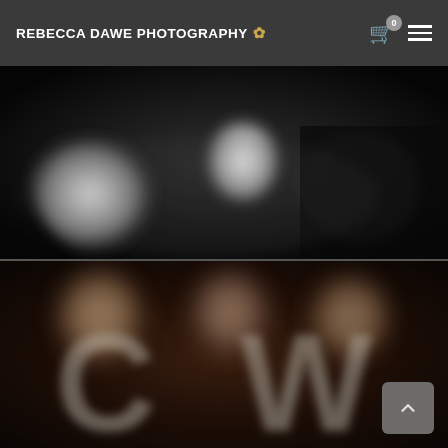REBECCA DAWE PHOTOGRAPHY
[Figure (photo): Black and white blurry photograph of people, likely a wedding scene with figures in white and dark clothing against a dark background]
[Figure (photo): Color photograph of a group of people posing together in a dark venue, with large decorative letters visible in the foreground/background]